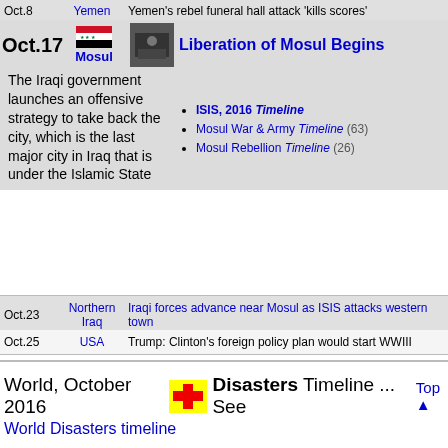| Date | Region | Headline |
| --- | --- | --- |
| Oct.8 | Yemen | Yemen's rebel funeral hall attack 'kills scores' |
| Oct.17 | Mosul | Liberation of Mosul Begins |
| Oct.23 | Northern Iraq | Iraqi forces advance near Mosul as ISIS attacks western town |
| Oct.25 | USA | Trump: Clinton's foreign policy plan would start WWIII |
The Iraqi government launches an offensive strategy to take back the city, which is the last major city in Iraq that is under the Islamic State
ISIS, 2016 Timeline
Mosul War & Army Timeline (63)
Mosul Rebellion Timeline (26)
World, October 2016 Disasters Timeline ... See
World Disasters timeline